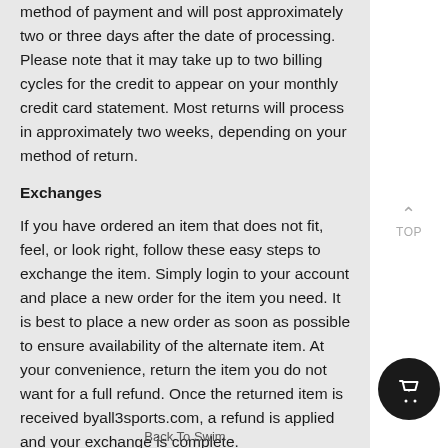method of payment and will post approximately two or three days after the date of processing. Please note that it may take up to two billing cycles for the credit to appear on your monthly credit card statement. Most returns will process in approximately two weeks, depending on your method of return.
Exchanges
If you have ordered an item that does not fit, feel, or look right, follow these easy steps to exchange the item. Simply login to your account and place a new order for the item you need. It is best to place a new order as soon as possible to ensure availability of the alternate item. At your convenience, return the item you do not want for a full refund. Once the returned item is received byall3sports.com, a refund is applied and your exchange is complete.
Back To Swim